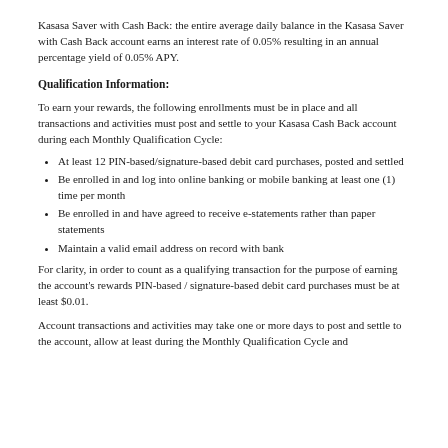Kasasa Saver with Cash Back: the entire average daily balance in the Kasasa Saver with Cash Back account earns an interest rate of 0.05% resulting in an annual percentage yield of 0.05% APY.
Qualification Information:
To earn your rewards, the following enrollments must be in place and all transactions and activities must post and settle to your Kasasa Cash Back account during each Monthly Qualification Cycle:
At least 12 PIN-based/signature-based debit card purchases, posted and settled
Be enrolled in and log into online banking or mobile banking at least one (1) time per month
Be enrolled in and have agreed to receive e-statements rather than paper statements
Maintain a valid email address on record with bank
For clarity, in order to count as a qualifying transaction for the purpose of earning the account's rewards PIN-based / signature-based debit card purchases must be at least $0.01.
Account transactions and activities may take one or more days to post and settle to the account, allow at least during the Monthly Qualification Cycle and...